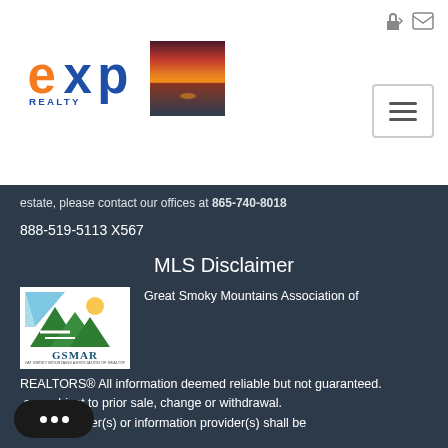[Figure (logo): eXp Realty logo with orange 'e' and blue 'xp' text, REALTY below]
[Figure (photo): Sunset over water/lake with red and orange sky]
please contact our offices at 865-740-8018
888-519-5113 X567
MLS Disclaimer
[Figure (logo): GSMAR - Great Smoky Mountains Association of REALTORS logo]
Great Smoky Mountains Association of REALTORS® All information deemed reliable but not guaranteed. are subject to prior sale, change or withdrawal. Nei...ng broker(s) or information provider(s) shall be